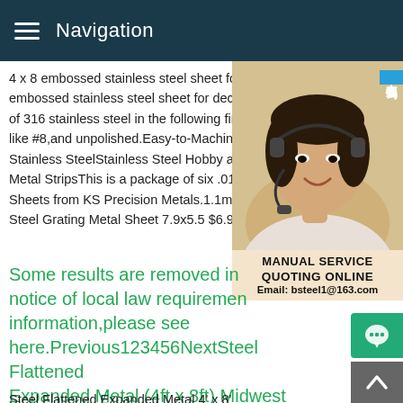Navigation
4 x 8 embossed stainless steel sheet for d embossed stainless steel sheet for decora of 316 stainless steel in the following finish like #8,and unpolished.Easy-to-Machine C Stainless SteelStainless Steel Hobby and Metal StripsThis is a package of six .018x Sheets from KS Precision Metals.1.1mm S Steel Grating Metal Sheet 7.9x5.5 $6.99 $
[Figure (photo): Customer service representative wearing headset with Chinese consultation tag (在线咨询) and service information box showing MANUAL SERVICE, QUOTING ONLINE, Email: bsteel1@163.com]
Some results are removed in notice of local law requirements information,please see here.Previous123456NextSteel Flattened Expanded Metal (4ft x 8ft) Midwest Steel
Steel Flattened Expanded Metal 4' x 8' sheets.Steel Expanded Metal sheets are made of steel that has been slit and stretched diamond shaped openings.Flattened expanded metal sheets h